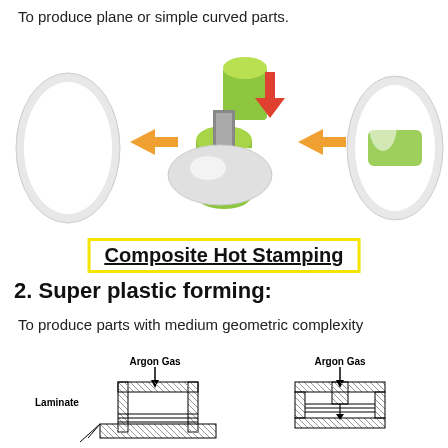To produce plane or simple curved parts.
[Figure (infographic): Composite hot stamping process diagram showing three stages: white oval preform, green laminate being pressed with rollers and a red down-arrow, and final white oval with green patch. Orange arrows indicate process flow left to right.]
Composite Hot Stamping
2. Super plastic forming:
To produce parts with medium geometric complexity
[Figure (engineering-diagram): Two cross-sectional engineering diagrams showing super plastic forming setup with Argon Gas inlets and Laminate layers in hatched mold cavities.]